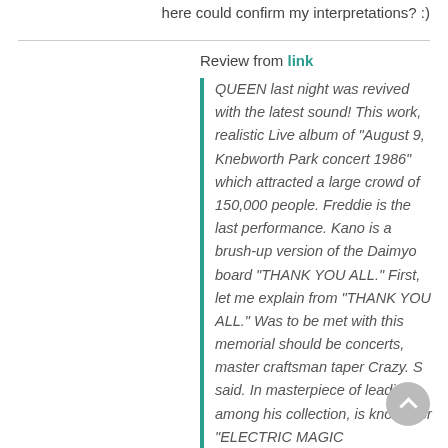here could confirm my interpretations? :)
Review from link
QUEEN last night was revived with the latest sound! This work, realistic Live album of “August 9, Knebworth Park concert 1986” which attracted a large crowd of 150,000 people. Freddie is the last performance. Kano is a brush-up version of the Daimyo board “THANK YOU ALL.” First, let me explain from “THANK YOU ALL.” Was to be met with this memorial should be concerts, master craftsman taper Crazy. S said. In masterpiece of leading among his collection, is known for “ELECTRIC MAGIC (Amsterdam)” from ancient times. This “ELECTRIC MAGIC”, I gem that boasts about great